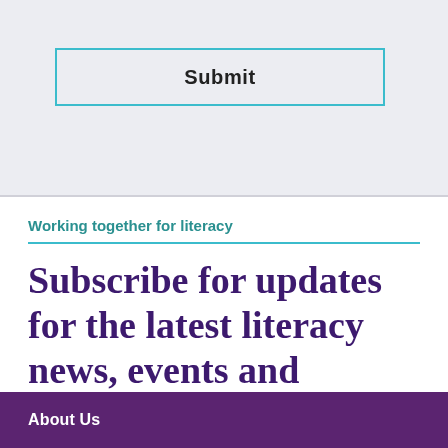[Figure (screenshot): Submit button with cyan/teal border on light gray background]
Working together for literacy
Subscribe for updates for the latest literacy news, events and resources.
About Us